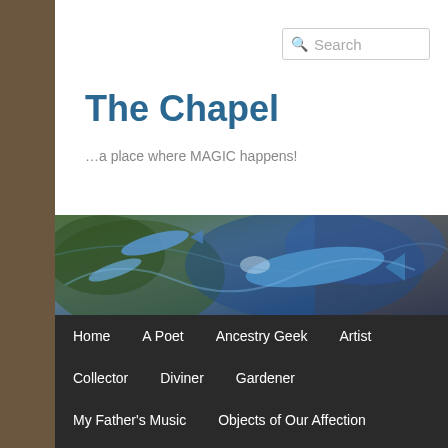The Chapel
…a place where MAGIC happens!
[Figure (illustration): A banner image of blue fish swimming in a dark, painterly underwater scene with swirling blues and greens.]
Home
A Poet
Ancestry Geek
Artist
Collector
Diviner
Gardener
My Father's Music
Objects of Our Affection
Reader
Teacher
Traveler